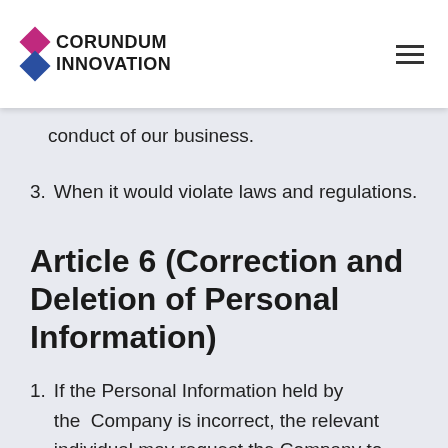CORUNDUM INNOVATION
conduct of our business.
3. When it would violate laws and regulations.
Article 6 (Correction and Deletion of Personal Information)
1. If the Personal Information held by the Company is incorrect, the relevant individual may request the Company to